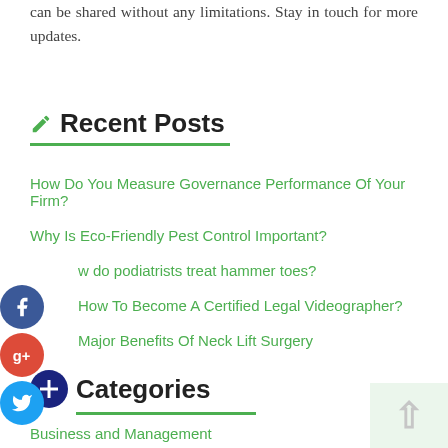can be shared without any limitations. Stay in touch for more updates.
Recent Posts
How Do You Measure Governance Performance Of Your Firm?
Why Is Eco-Friendly Pest Control Important?
How do podiatrists treat hammer toes?
How To Become A Certified Legal Videographer?
Major Benefits Of Neck Lift Surgery
Categories
Business and Management